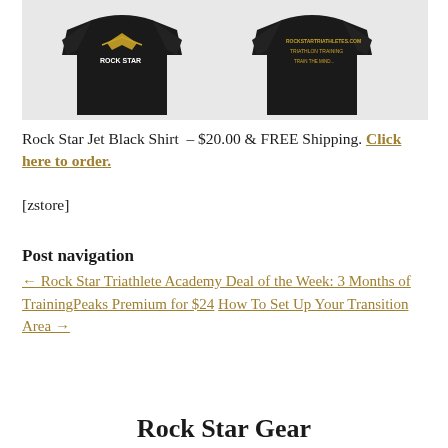[Figure (photo): Two black Rock Star t-shirts shown front and back view with gold logo/text design]
Rock Star Jet Black Shirt – $20.00 & FREE Shipping. Click here to order.
[zstore]
Post navigation
← Rock Star Triathlete Academy Deal of the Week: 3 Months of TrainingPeaks Premium for $24 How To Set Up Your Transition Area →
Rock Star Gear